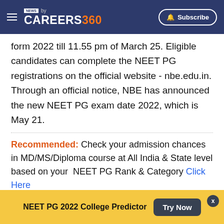NEWS by CAREERS360 | Subscribe
form 2022 till 11.55 pm of March 25. Eligible candidates can complete the NEET PG registrations on the official website - nbe.edu.in. Through an official notice, NBE has announced the new NEET PG exam date 2022, which is May 21.
Recommended: Check your admission chances in MD/MS/Diploma course at All India & State level based on your  NEET PG Rank & Category Click Here
Latest: Check your admission chances in DNB programs available in Hospitals & all India Colleges
NEET PG 2022 College Predictor  Try Now